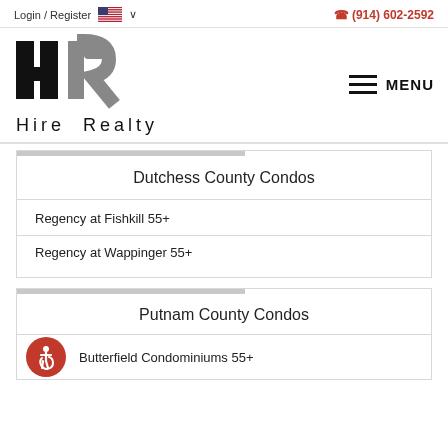Login / Register   🇺🇸 ∨        ☎ (914) 602-2592
[Figure (logo): Hire Realty logo with stylized HR letters and company name]
Dutchess County Condos
Regency at Fishkill 55+
Regency at Wappinger 55+
Putnam County Condos
Butterfield Condominiums 55+